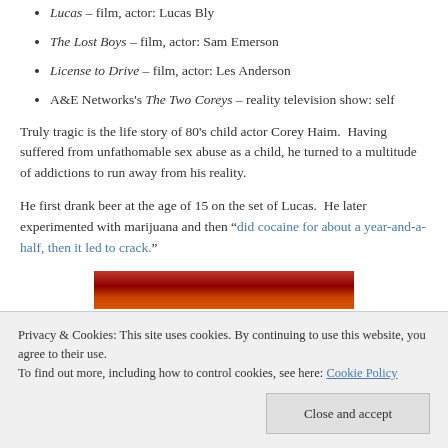Lucas – film, actor: Lucas Bly
The Lost Boys – film, actor: Sam Emerson
License to Drive – film, actor: Les Anderson
A&E Networks's The Two Coreys – reality television show: self
Truly tragic is the life story of 80's child actor Corey Haim. Having suffered from unfathomable sex abuse as a child, he turned to a multitude of addictions to run away from his reality.
He first drank beer at the age of 15 on the set of Lucas. He later experimented with marijuana and then "did cocaine for about a year-and-a-half, then it led to crack."
[Figure (photo): Partial image of what appears to be a red and orange styled photo, partially obscured by cookie banner]
Privacy & Cookies: This site uses cookies. By continuing to use this website, you agree to their use. To find out more, including how to control cookies, see here: Cookie Policy
Close and accept